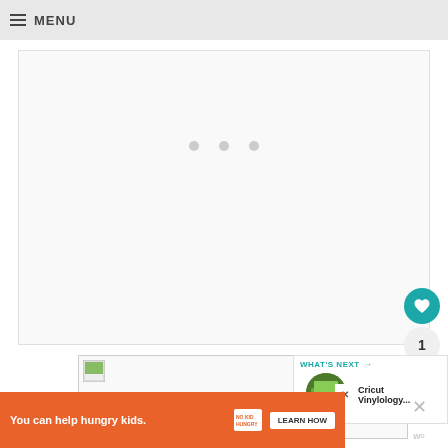MENU
[Figure (photo): Large blank/loading image area with three dots carousel indicator]
[Figure (photo): Thumbnail image placeholder in lower content area]
[Figure (infographic): What's Next sidebar with circular thumbnail and title: Cricut Vinylology...]
You can help hungry kids. NO KID HUNGRY LEARN HOW
1